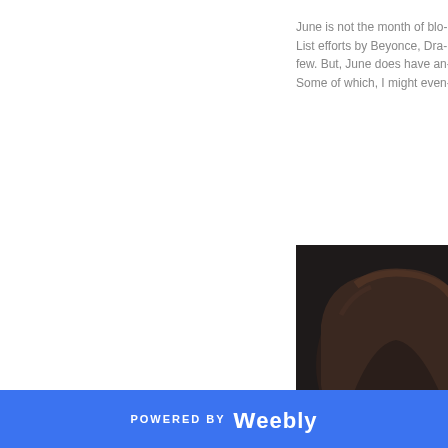June is not the month of blo- List efforts by Beyonce, Dra- few. But, June does have an- Some of which, I might even-
[Figure (photo): Portrait photo of a young person with short dark wavy hair, wearing a black leather jacket over a white shirt, with a chain necklace, hand raised near face, looking at camera with a serious expression.]
POWERED BY weebly